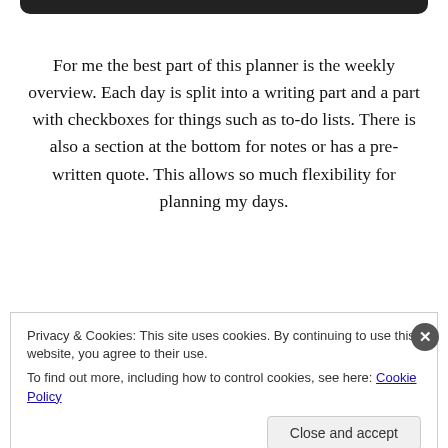For me the best part of this planner is the weekly overview. Each day is split into a writing part and a part with checkboxes for things such as to-do lists. There is also a section at the bottom for notes or has a pre-written quote. This allows so much flexibility for planning my days.
[Figure (photo): Partial view of a planner or book cover with dark blue and red tones, partially obscured by cookie consent overlay]
Privacy & Cookies: This site uses cookies. By continuing to use this website, you agree to their use.
To find out more, including how to control cookies, see here: Cookie Policy
Close and accept